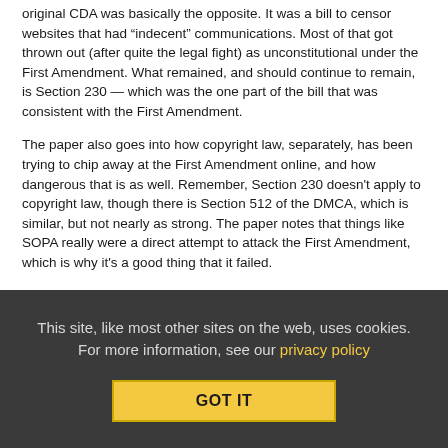original CDA was basically the opposite. It was a bill to censor websites that had “indecent” communications. Most of that got thrown out (after quite the legal fight) as unconstitutional under the First Amendment. What remained, and should continue to remain, is Section 230 — which was the one part of the bill that was consistent with the First Amendment.
The paper also goes into how copyright law, separately, has been trying to chip away at the First Amendment online, and how dangerous that is as well. Remember, Section 230 doesn't apply to copyright law, though there is Section 512 of the DMCA, which is similar, but not nearly as strong. The paper notes that things like SOPA really were a direct attempt to attack the First Amendment, which is why it's a good thing that it failed.
All in all, it's a good reminder of both how important protecting free speech online is today and how fragile it is, since the laws that have made it possible are so constantly under attack.
This site, like most other sites on the web, uses cookies. For more information, see our privacy policy
GOT IT